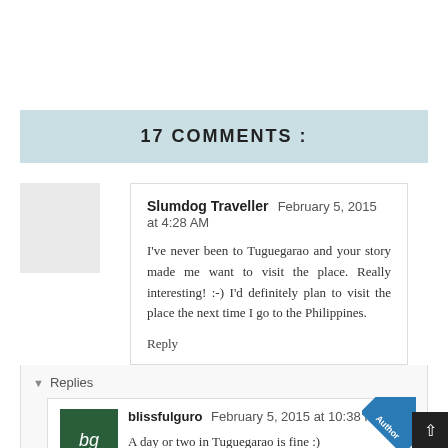17 COMMENTS :
Slumdog Traveller  February 5, 2015 at 4:28 AM
I've never been to Tuguegarao and your story made me want to visit the place. Really interesting! :-) I'd definitely plan to visit the place the next time I go to the Philippines.
Reply
Replies
blissfulguro  February 5, 2015 at 10:38 PM
A day or two in Tuguegarao is fine :)